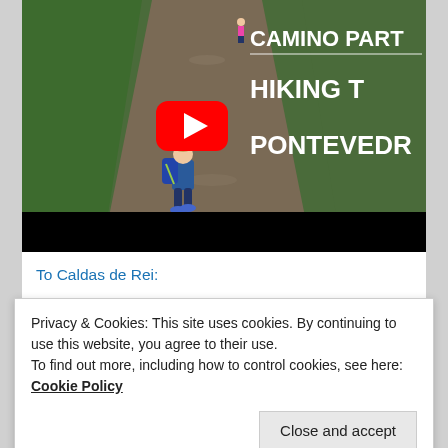[Figure (screenshot): YouTube video thumbnail showing a child hiking on a trail path with text overlay: CAMINO PART, HIKING T, PONTEVEDR and a YouTube play button]
To Caldas de Rei:
Privacy & Cookies: This site uses cookies. By continuing to use this website, you agree to their use.
To find out more, including how to control cookies, see here: Cookie Policy
Close and accept
[Figure (photo): Bottom partial photo strip, appears to show people outdoors in blue tones]